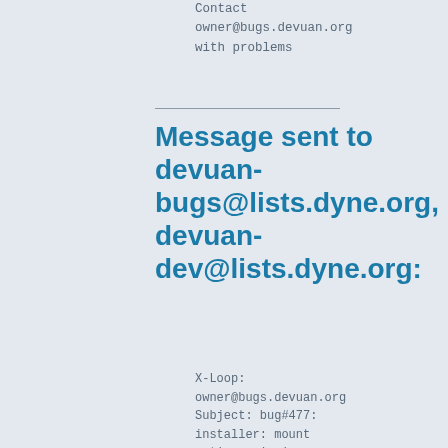Contact
owner@bugs.devuan.org
with problems
Message sent to devuan-bugs@lists.dyne.org, devuan-dev@lists.dyne.org:
X-Loop: owner@bugs.devuan.org
Subject: bug#477: installer: mount options missing
Reply-To: Mark Hindley <mark@hindley.org.uk>, 477@bugs.devuan.org
Resent-From: Mark Hindley <mark@hindley.org.uk>
Resent-To: devuan-bugs@lists.dyne.org